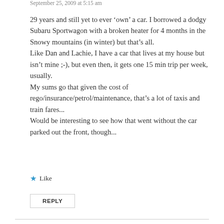September 25, 2009 at 5:15 am
29 years and still yet to ever ‘own’ a car. I borrowed a dodgy Subaru Sportwagon with a broken heater for 4 months in the Snowy mountains (in winter) but that’s all.
Like Dan and Lachie, I have a car that lives at my house but isn’t mine ;-), but even then, it gets one 15 min trip per week, usually.
My sums go that given the cost of rego/insurance/petrol/maintenance, that’s a lot of taxis and train fares...
Would be interesting to see how that went without the car parked out the front, though...
★ Like
REPLY